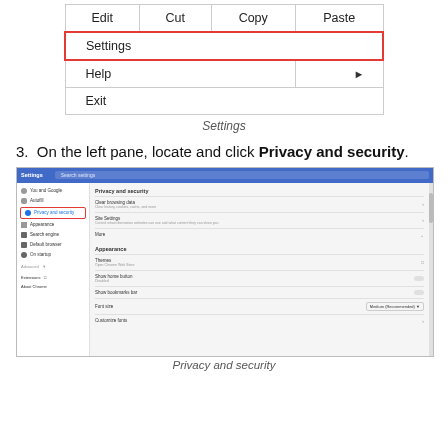[Figure (screenshot): Context menu showing Edit, Cut, Copy, Paste in top row, Settings (highlighted with red border), Help with arrow, and Exit options]
Settings
3. On the left pane, locate and click Privacy and security.
[Figure (screenshot): Chrome Settings page with left navigation showing Privacy and security highlighted with red border, and right pane showing Privacy and security section with Clear browsing data, Site Settings, More options, and Appearance section below]
Privacy and security